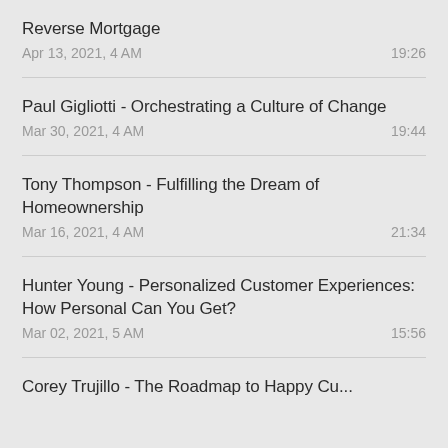Reverse Mortgage
Apr 13, 2021, 4 AM    19:26
Paul Gigliotti - Orchestrating a Culture of Change
Mar 30, 2021, 4 AM    19:44
Tony Thompson - Fulfilling the Dream of Homeownership
Mar 16, 2021, 4 AM    21:34
Hunter Young - Personalized Customer Experiences: How Personal Can You Get?
Mar 02, 2021, 5 AM    15:56
Corey Trujillo - The Roadmap to Happy Cu...